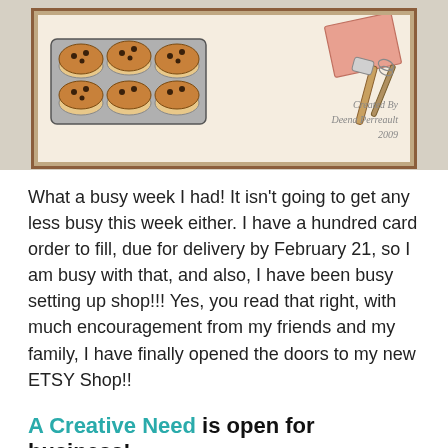[Figure (illustration): A hand-drawn illustration of a muffin baking tray with chocolate chip muffins, a spatula, and a pink rectangular item. Watermark text reads 'Created By Deena Perreault 2009'. The card is framed with a brown border on a tan/grey background.]
What a busy week I had!  It isn't going to get any less busy this week either.   I have a hundred card order to fill, due for delivery by February 21, so I am busy with that, and also, I have been busy setting up shop!!!  Yes, you read that right, with much encouragement from my friends and my family, I have finally opened the doors to my new ETSY Shop!!
A Creative Need is open for business!
I was really excited when I made my first sale the day after